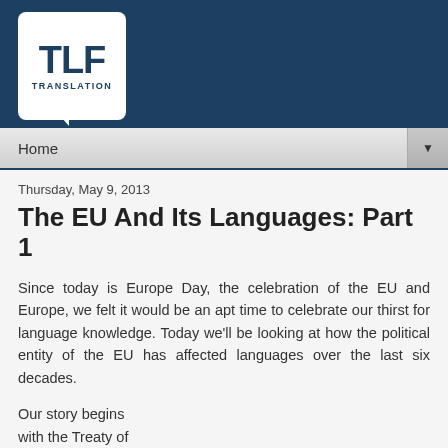[Figure (logo): TLF Translation logo — white speech bubble box with 'TLF' in large bold dark blue text and 'TRANSLATION' in small caps below, on a dark blue header bar background]
Home
Thursday, May 9, 2013
The EU And Its Languages: Part 1
Since today is Europe Day, the celebration of the EU and Europe, we felt it would be an apt time to celebrate our thirst for language knowledge. Today we'll be looking at how the political entity of the EU has affected languages over the last six decades.
Our story begins with the Treaty of Rome and the